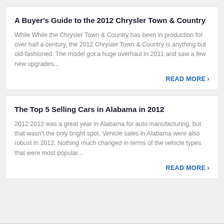A Buyer's Guide to the 2012 Chrysler Town & Country
While While the Chrysler Town & Country has been in production for over half a century, the 2012 Chrysler Town & Country is anything but old-fashioned. The model got a huge overhaul in 2011 and saw a few new upgrades...
The Top 5 Selling Cars in Alabama in 2012
2012 2012 was a great year in Alabama for auto manufacturing, but that wasn't the only bright spot. Vehicle sales in Alabama were also robust in 2012. Nothing much changed in terms of the vehicle types that were most popular...